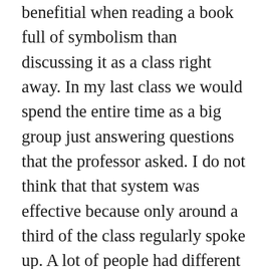benefitial when reading a book full of symbolism than discussing it as a class right away. In my last class we would spend the entire time as a big group just answering questions that the professor asked. I do not think that that system was effective because only around a third of the class regularly spoke up. A lot of people had different opinions and perspectives, but they were never expressed. This way of sharing forces everyone to share their thoughts which helps everyone to